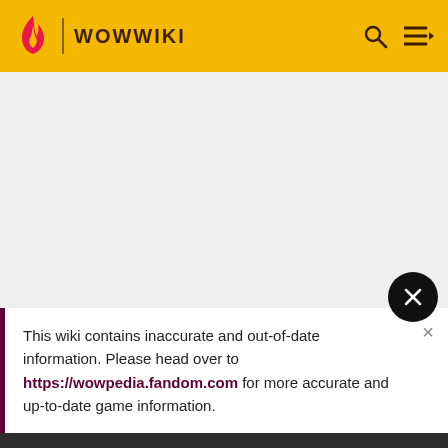WOWWIKI
ADVERTISEMENT
This wiki contains inaccurate and out-of-date information. Please head over to https://wowpedia.fandom.com for more accurate and up-to-date game information.
Top Contributors
Categories